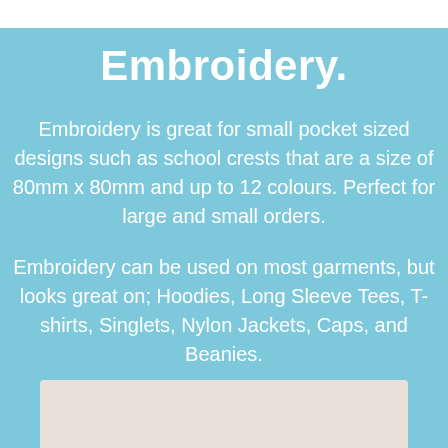Embroidery.
Embroidery is great for small pocket sized designs such as school crests that are a size of 80mm x 80mm and up to 12 colours. Perfect for large and small orders.
Embroidery can be used on most garments, but looks great on; Hoodies, Long Sleeve Tees, T-shirts, Singlets, Nylon Jackets, Caps, and Beanies.
[Figure (photo): Partial view of a light-coloured garment photo at bottom of page]